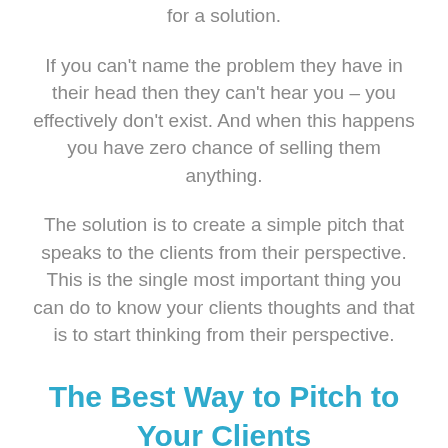for a solution.
If you can't name the problem they have in their head then they can't hear you – you effectively don't exist. And when this happens you have zero chance of selling them anything.
The solution is to create a simple pitch that speaks to the clients from their perspective. This is the single most important thing you can do to know your clients thoughts and that is to start thinking from their perspective.
The Best Way to Pitch to Your Clients